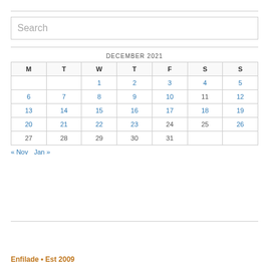[Figure (other): Search input box with placeholder text 'Search']
| M | T | W | T | F | S | S |
| --- | --- | --- | --- | --- | --- | --- |
|  |  | 1 | 2 | 3 | 4 | 5 |
| 6 | 7 | 8 | 9 | 10 | 11 | 12 |
| 13 | 14 | 15 | 16 | 17 | 18 | 19 |
| 20 | 21 | 22 | 23 | 24 | 25 | 26 |
| 27 | 28 | 29 | 30 | 31 |  |  |
« Nov   Jan »
Enfilade • Est 2009